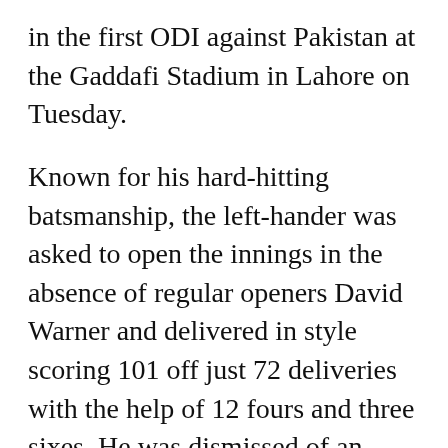in the first ODI against Pakistan at the Gaddafi Stadium in Lahore on Tuesday.
Known for his hard-hitting batsmanship, the left-hander was asked to open the innings in the absence of regular openers David Warner and delivered in style scoring 101 off just 72 deliveries with the help of 12 fours and three sixes. He was dismissed of an Ifitkhar Ahmed delivery in the 24th over after smashing the Pakistani bowling attack minus Shaheen Shah Afridi to all parts of the ground.
Ben McDermott, the younger son of former Aussie pacer Craig McDermott who was also named the most valuable player at the recent